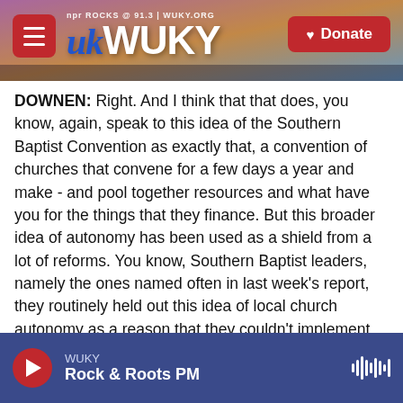[Figure (screenshot): WUKY NPR radio station website header banner with landscape/sunset background, hamburger menu button, WUKY logo, and red Donate button]
DOWNEN: Right. And I think that that does, you know, again, speak to this idea of the Southern Baptist Convention as exactly that, a convention of churches that convene for a few days a year and make - and pool together resources and what have you for the things that they finance. But this broader idea of autonomy has been used as a shield from a lot of reforms. You know, Southern Baptist leaders, namely the ones named often in last week's report, they routinely held out this idea of local church autonomy as a reason that they couldn't implement reforms.
WUKY
Rock & Roots PM